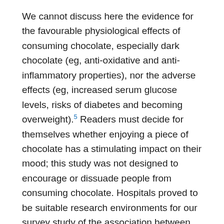We cannot discuss here the evidence for the favourable physiological effects of consuming chocolate, especially dark chocolate (eg, anti-oxidative and anti-inflammatory properties), nor the adverse effects (eg, increased serum glucose levels, risks of diabetes and becoming overweight).5 Readers must decide for themselves whether enjoying a piece of chocolate has a stimulating impact on their mood; this study was not designed to encourage or dissuade people from consuming chocolate. Hospitals proved to be suitable research environments for our survey study of the association between chocolate exposure and certain endpoints potentially relevant to health care professionals.6
Implications for clinicians and policymakers
With 220 million chocolate Easter Bunnies and 151 million chocolate Santa Clauses produced in Germany during 2019 alone,7 the confectionery industry